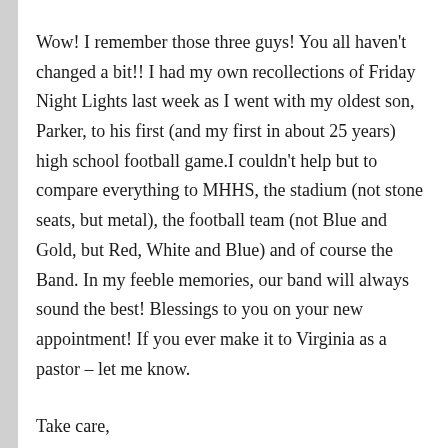Wow! I remember those three guys! You all haven't changed a bit!! I had my own recollections of Friday Night Lights last week as I went with my oldest son, Parker, to his first (and my first in about 25 years) high school football game.I couldn't help but to compare everything to MHHS, the stadium (not stone seats, but metal), the football team (not Blue and Gold, but Red, White and Blue) and of course the Band. In my feeble memories, our band will always sound the best! Blessings to you on your new appointment! If you ever make it to Virginia as a pastor – let me know.
Take care,
Laurie